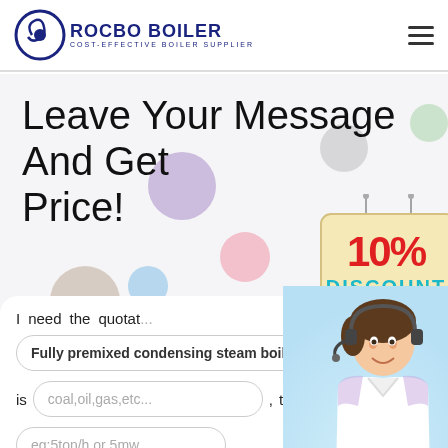ROCBO BOILER - COST-EFFECTIVE BOILER SUPPLIER
Leave Your Message And Get Price!
[Figure (illustration): 10% DISCOUNT badge with hanging sign style illustration]
[Figure (photo): Customer service representative with headset, woman smiling, with 7X24 Online button below]
I need the quotation of
Fully premixed condensing steam boil
is
coal,oil,gas,etc...
, this
eg:5ton/h or 5mw